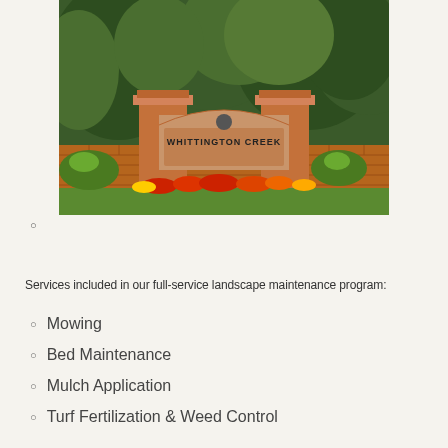[Figure (photo): Entrance sign for Whittington Creek community, with brick pillars, a brick archway sign reading 'WHITTINGTON CREEK', colorful flowers in the foreground, and dense green trees in the background on a sunny day.]
Services included in our full-service landscape maintenance program:
Mowing
Bed Maintenance
Mulch Application
Turf Fertilization & Weed Control